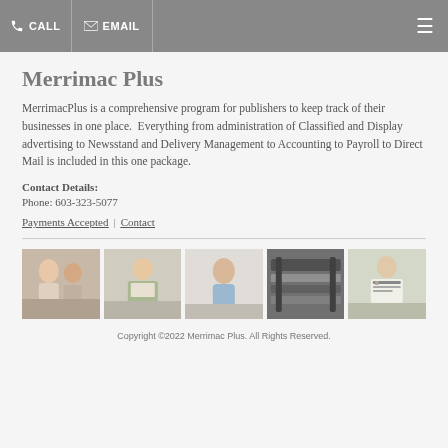CALL | EMAIL
Merrimac Plus
MerrimacPlus is a comprehensive program for publishers to keep track of their businesses in one place.  Everything from administration of Classified and Display advertising to Newsstand and Delivery Management to Accounting to Payroll to Direct Mail is included in this one package.
Contact Details:
Phone: 603-323-5077
Payments Accepted | Contact
[Figure (photo): Five thumbnail images showing people reading/using media and a printing press]
Copyright ©2022 Merrimac Plus. All Rights Reserved.